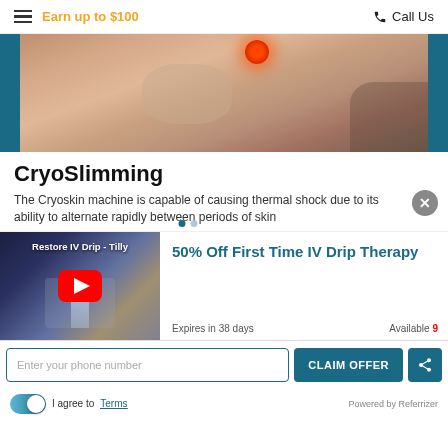Earn up to $100   Call Us
[Figure (photo): Close-up photo of a person receiving a red-light/cryo therapy treatment on their abdomen, with a handheld device emitting red light, wrapped in a white towel, teal border on sides.]
CryoSlimming
The Cryoskin machine is capable of causing thermal shock due to its ability to alternate rapidly between periods of skin
[Figure (screenshot): YouTube video thumbnail showing 'Restore IV Drip - Tilly' with a red YouTube play button, blurred background of IV drip setup.]
50% Off First Time IV Drip Therapy
Expires in 38 days
Available 9
Enter your phone number
CLAIM OFFER
I agree to Terms   Powered by Referrizer